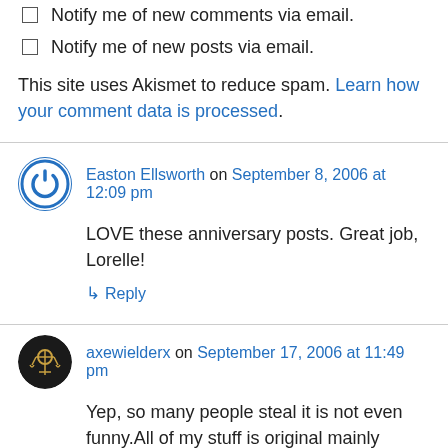Notify me of new comments via email.
Notify me of new posts via email.
This site uses Akismet to reduce spam. Learn how your comment data is processed.
Easton Ellsworth on September 8, 2006 at 12:09 pm
LOVE these anniversary posts. Great job, Lorelle!
↳ Reply
axewielderx on September 17, 2006 at 11:49 pm
Yep, so many people steal it is not even funny.All of my stuff is original mainly because I am